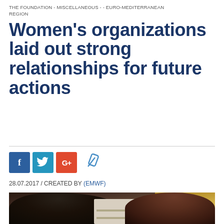THE FOUNDATION - MISCELLANEOUS - - EURO-MEDITERRANEAN REGION
Women's organizations laid out strong relationships for future actions
[Figure (infographic): Social sharing buttons: Facebook (f), Twitter (bird), Google+ (G+), and a link/paperclip icon]
28.07.2017 / CREATED BY (EMWF)
[Figure (photo): Photo of two women, one wearing a blue headscarf on the left and one with dark curly hair on the right, sitting together, with a bookshelf visible in the background and a yellow wall]